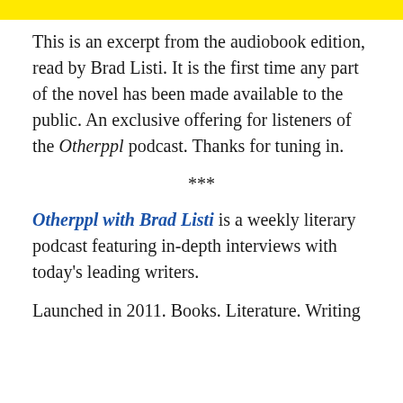[Figure (other): Yellow horizontal banner/bar at top of page]
This is an excerpt from the audiobook edition, read by Brad Listi. It is the first time any part of the novel has been made available to the public. An exclusive offering for listeners of the Otherppl podcast. Thanks for tuning in.
***
Otherppl with Brad Listi is a weekly literary podcast featuring in-depth interviews with today's leading writers.
Launched in 2011. Books. Literature. Writing